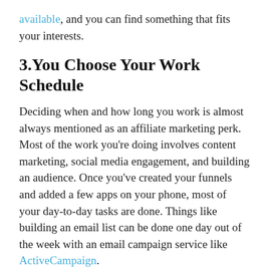available, and you can find something that fits your interests.
3.You Choose Your Work Schedule
Deciding when and how long you work is almost always mentioned as an affiliate marketing perk. Most of the work you're doing involves content marketing, social media engagement, and building an audience. Once you've created your funnels and added a few apps on your phone, most of your day-to-day tasks are done. Things like building an email list can be done one day out of the week with an email campaign service like ActiveCampaign.
Depending on how much work you put into your affiliate site and platforms, you can see viability